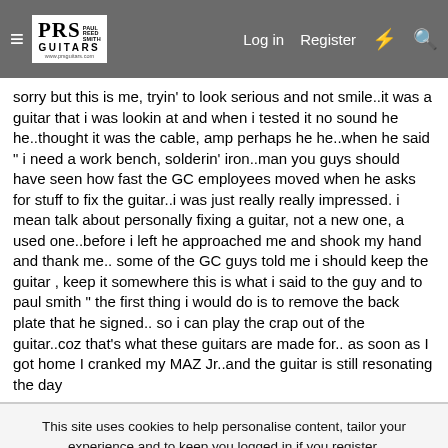PRS Paul Reed Smith Guitars — Log in | Register
sorry but this is me, tryin' to look serious and not smile..it was a guitar that i was lookin at and when i tested it no sound he he..thought it was the cable, amp perhaps he he..when he said " i need a work bench, solderin' iron..man you guys should have seen how fast the GC employees moved when he asks for stuff to fix the guitar..i was just really really impressed. i mean talk about personally fixing a guitar, not a new one, a used one..before i left he approached me and shook my hand and thank me.. some of the GC guys told me i should keep the guitar , keep it somewhere this is what i said to the guy and to paul smith " the first thing i would do is to remove the back plate that he signed.. so i can play the crap out of the guitar..coz that's what these guitars are made for.. as soon as I got home I cranked my MAZ Jr..and the guitar is still resonating the day
This site uses cookies to help personalise content, tailor your experience and to keep you logged in if you register.
By continuing to use this site, you are consenting to our use of cookies.